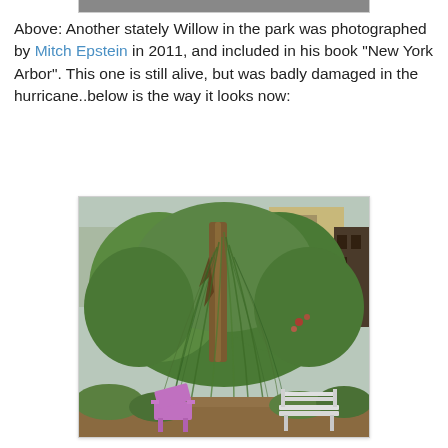[Figure (photo): Partial view of a previous photo at the top of the page (cropped strip)]
Above: Another stately Willow in the park was photographed by Mitch Epstein in 2011,  and included in his book "New York Arbor". This one is still alive, but was badly damaged in the hurricane..below is the way it looks now:
[Figure (photo): Photo of a damaged weeping willow tree in a park, with a pink Adirondack chair on the left, a white bench on the right, and apartment buildings visible in the background. The trunk of the tree is split/damaged but the tree still has dense drooping green foliage.]